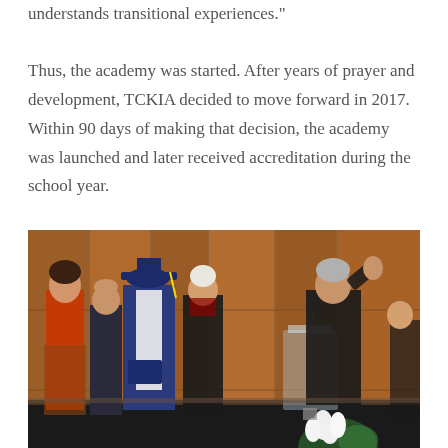understands transitional experiences."

Thus, the academy was started. After years of prayer and development, TCKIA decided to move forward in 2017. Within 90 days of making that decision, the academy was launched and later received accreditation during the school year.
[Figure (photo): A graduation ceremony scene showing a graduate in blue cap and gown with a white stole holding a diploma, flanked by family members, with a robed official behind them and a speaker at a clear podium gesturing with his hand raised, inside a wood-paneled auditorium with white flowers in the foreground.]